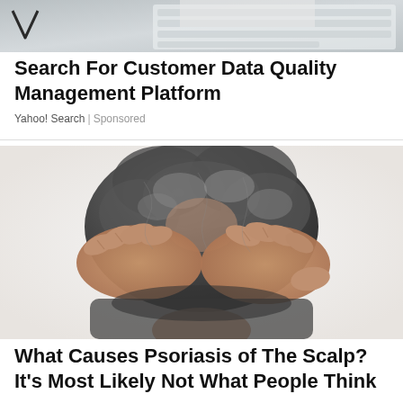[Figure (photo): Person typing on a keyboard at a desk, top portion of image cropped]
Search For Customer Data Quality Management Platform
Yahoo! Search | Sponsored
[Figure (photo): Elderly person scratching scalp with both hands, gray curly hair visible, white background]
What Causes Psoriasis of The Scalp? It's Most Likely Not What People Think